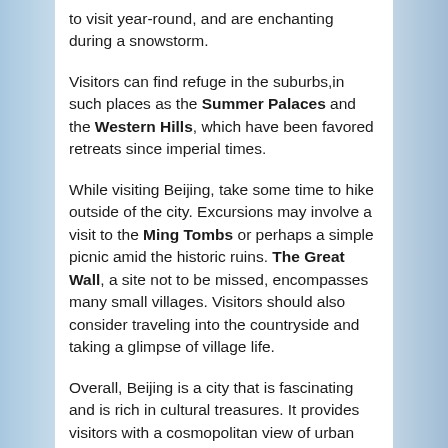to visit year-round, and are enchanting during a snowstorm.
Visitors can find refuge in the suburbs,in such places as the Summer Palaces and the Western Hills, which have been favored retreats since imperial times.
While visiting Beijing, take some time to hike outside of the city. Excursions may involve a visit to the Ming Tombs or perhaps a simple picnic amid the historic ruins. The Great Wall, a site not to be missed, encompasses many small villages. Visitors should also consider traveling into the countryside and taking a glimpse of village life.
Overall, Beijing is a city that is fascinating and is rich in cultural treasures. It provides visitors with a cosmopolitan view of urban modernity, as well as imparting a deep respect for times past
Attractions